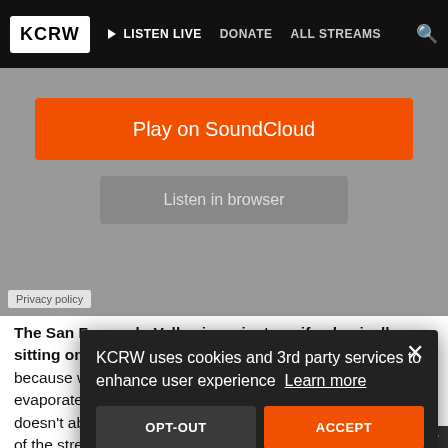KCRW | LISTEN LIVE | DONATE | ALL STREAMS
[Figure (screenshot): SoundCloud embedded player with orange 'Play on SoundCloud' button and grey 'Listen in browser' button on grey background. Privacy policy label at bottom left.]
The San Fernando Valley is a giant aquifer, basically sitting on a sponge that can absorb a lot of water. And because water is so scarce and so precious, and yet we evaporate it into the ocean, the San Fernando aquifer doesn't absorb as much water as it could. About 80 percent of the streets are paved, which prevents water from getting to the natural storage tank. Remember, the L.A. river is paved too, so we're basically
KCRW uses cookies and 3rd party services to enhance user experience Learn more
OPT-OUT | ACCEPT